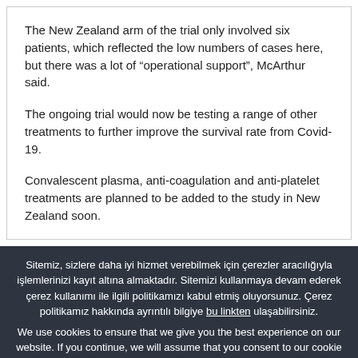The New Zealand arm of the trial only involved six patients, which reflected the low numbers of cases here, but there was a lot of “operational support”, McArthur said.
The ongoing trial would now be testing a range of other treatments to further improve the survival rate from Covid-19.
Convalescent plasma, anti-coagulation and anti-platelet treatments are planned to be added to the study in New Zealand soon.
Sitemiz, sizlere daha iyi hizmet verebilmek için çerezler aracılığıyla işlemlerinizi kayıt altına almaktadır. Sitemizi kullanmaya devam ederek çerez kullanımı ile ilgili politikamızı kabul etmiş oluyorsunuz. Çerez politikamız hakkında ayrıntılı bilgiye bu linkten ulaşabilirsiniz. We use cookies to ensure that we give you the best experience on our website. If you continue, we will assume that you consent to our cookie policy. For more information about our Cookie Policy click here.
Kabul Et / Accept